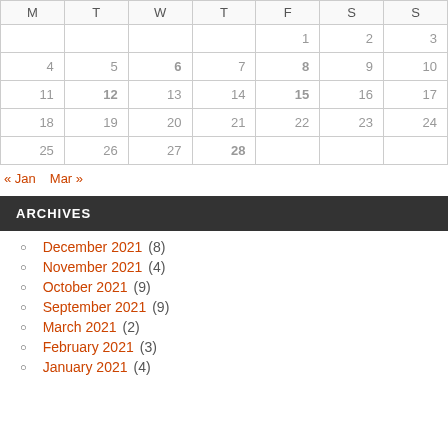| M | T | W | T | F | S | S |
| --- | --- | --- | --- | --- | --- | --- |
|  |  |  |  | 1 | 2 | 3 |
| 4 | 5 | 6 | 7 | 8 | 9 | 10 |
| 11 | 12 | 13 | 14 | 15 | 16 | 17 |
| 18 | 19 | 20 | 21 | 22 | 23 | 24 |
| 25 | 26 | 27 | 28 |  |  |  |
« Jan   Mar »
ARCHIVES
December 2021 (8)
November 2021 (4)
October 2021 (9)
September 2021 (9)
March 2021 (2)
February 2021 (3)
January 2021 (4)